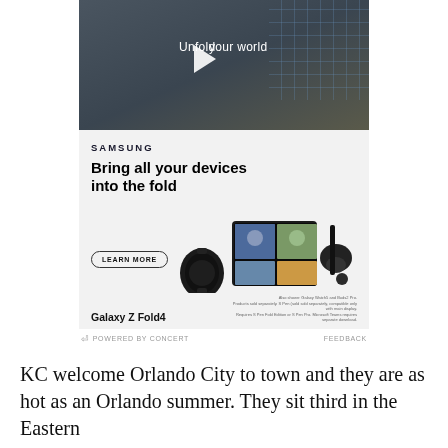[Figure (screenshot): Samsung Galaxy Z Fold4 advertisement. Top portion shows a video thumbnail with a man walking in a store-like setting with text 'Unfold your world' and a play button. Below is the Samsung ad with text 'Bring all your devices into the fold', a 'LEARN MORE' button, product images of a smartwatch, folded phone showing a video call, earbuds case, and S Pen, and 'Galaxy Z Fold4' branding with disclaimer text.]
⏵ POWERED BY CONCERT    FEEDBACK
KC welcome Orlando City to town and they are as hot as an Orlando summer. They sit third in the Eastern